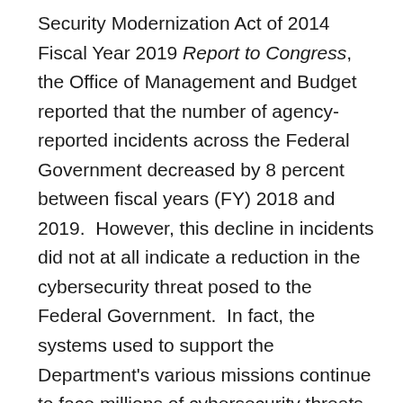Security Modernization Act of 2014 Fiscal Year 2019 Report to Congress, the Office of Management and Budget reported that the number of agency-reported incidents across the Federal Government decreased by 8 percent between fiscal years (FY) 2018 and 2019.  However, this decline in incidents did not at all indicate a reduction in the cybersecurity threat posed to the Federal Government.  In fact, the systems used to support the Department's various missions continue to face millions of cybersecurity threats each year, ranging from unsophisticated hackers to advanced persistent threats using state-of-the-art intrusion tools and techniques.  In addition, during FY 2020, the Department faced the unprecedented challenge of maintaining